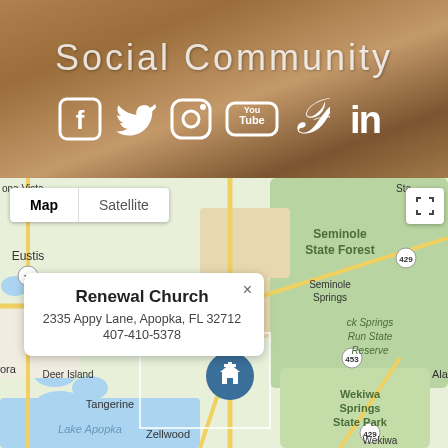Social Community
[Figure (illustration): Social media icons: Facebook, Twitter, Instagram, YouTube, Pinterest, LinkedIn displayed in white on a wood-texture brown background]
[Figure (map): Google Maps view showing Apopka, FL area with a map popup for Renewal Church at 2335 Appy Lane, Apopka, FL 32712, phone 407-410-5378. Map shows Eustis, Mt Dora, Tangerine, Zellwood, Lake Apopka, Deer Island, Seminole Springs, Seminole State Forest, Rock Springs Run State Reserve, Wekiwa Springs State Park, and Alaqua areas.]
Renewal Church
2335 Appy Lane, Apopka, FL 32712
407-410-5378